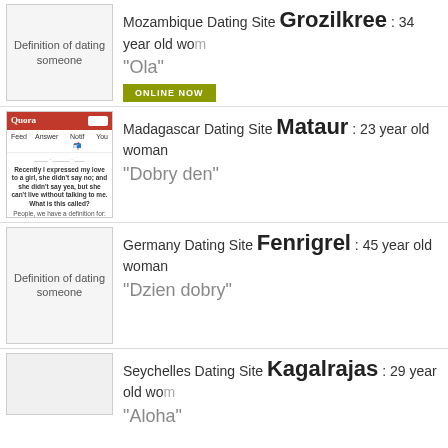[Figure (screenshot): Dating site listing for Grozilkree from Mozambique, 34 year old woman, greeting 'Ola', with placeholder image labeled 'Definition of dating someone' and an ONLINE NOW button]
[Figure (screenshot): Dating site listing for Mataur from Madagascar, 23 year old woman, greeting 'Dobry den', with Quora screenshot thumbnail]
[Figure (screenshot): Dating site listing for Fenrigrel from Germany, 45 year old woman, greeting 'Dzien dobry', with placeholder image labeled 'Definition of dating someone']
[Figure (screenshot): Dating site listing for Kagalrajas from Seychelles, 29 year old woman, greeting 'Aloha']